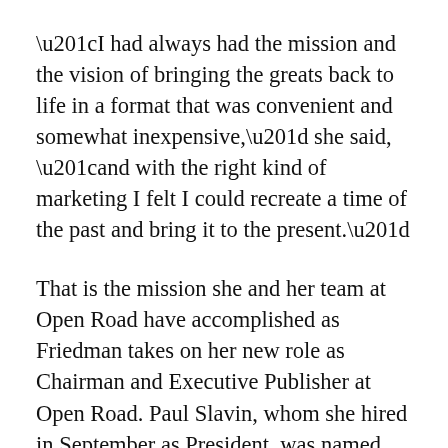“I had always had the mission and the vision of bringing the greats back to life in a format that was convenient and somewhat inexpensive,” she said, “and with the right kind of marketing I felt I could recreate a time of the past and bring it to the present.”
That is the mission she and her team at Open Road have accomplished as Friedman takes on her new role as Chairman and Executive Publisher at Open Road. Paul Slavin, whom she hired in September as President, was named CEO on May 31.
Friedman will continue to work at adding great backlist titles to the company’s digital